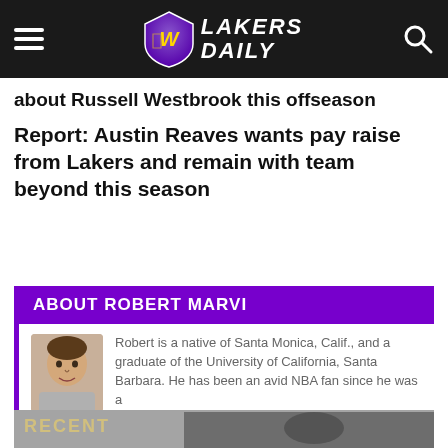Lakers Daily
about Russell Westbrook this offseason
Report: Austin Reaves wants pay raise from Lakers and remain with team beyond this season
ABOUT ROBERT MARVI
Robert is a native of Santa Monica, Calif., and a graduate of the University of California, Santa Barbara. He has been an avid NBA fan since he was a little kid in the mid '90s and fell in love with the Nick Van Exel-led Lakers teams. He truly cherishes the Kobe Bryant-era of Lakers basketball and the five world championships that came with it, and is looking forward to the team's next NBA title.
RECENT